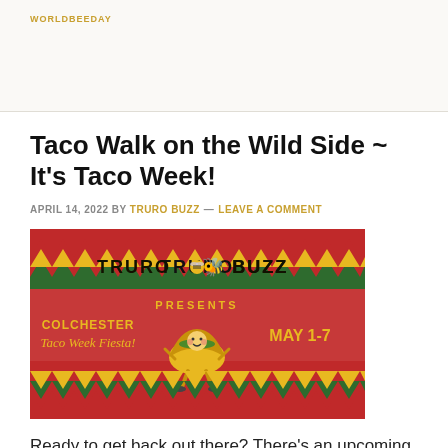WORLDBEEDAY
Taco Walk on the Wild Side ~ It's Taco Week!
APRIL 14, 2022 BY TRURO BUZZ — LEAVE A COMMENT
[Figure (illustration): Truro Buzz presents Colchester Taco Week Fiesta! May 1-7 promotional banner with red background, zigzag chevron borders in green and yellow, and a cartoon taco character]
Ready to get back out there? There's an upcoming fiesta you won't want to miss! Taco